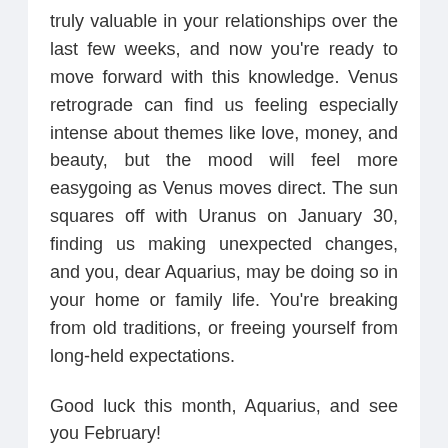truly valuable in your relationships over the last few weeks, and now you're ready to move forward with this knowledge. Venus retrograde can find us feeling especially intense about themes like love, money, and beauty, but the mood will feel more easygoing as Venus moves direct. The sun squares off with Uranus on January 30, finding us making unexpected changes, and you, dear Aquarius, may be doing so in your home or family life. You're breaking from old traditions, or freeing yourself from long-held expectations.
Good luck this month, Aquarius, and see you February!